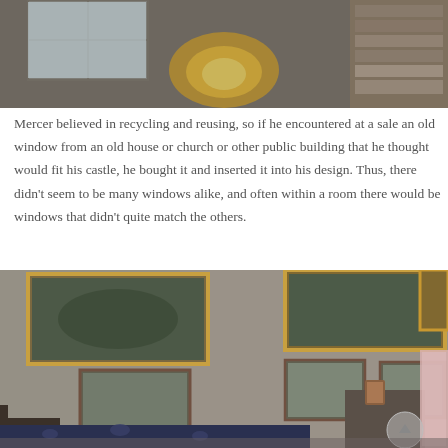[Figure (photo): Top portion of a photo showing architectural details of a building interior with windows, a yellow fabric/curtain element, and wooden beams or shelves with books/items. Stone or textured ceiling visible.]
Mercer believed in recycling and reusing, so if he encountered at a sale an old window from an old house or church or other public building that he thought would fit his castle, he bought it and inserted it into his design. Thus, there didn't seem to be many windows alike, and often within a room there would be windows that didn't quite match the others.
[Figure (photo): Interior room of Mercer's castle showing rough stone/plaster walls adorned with several framed paintings and pictures in gold and dark frames. A bed with dark floral bedding is in the foreground, along with a wooden dresser/nightstand and a mug. A pink door is partially visible on the right edge.]